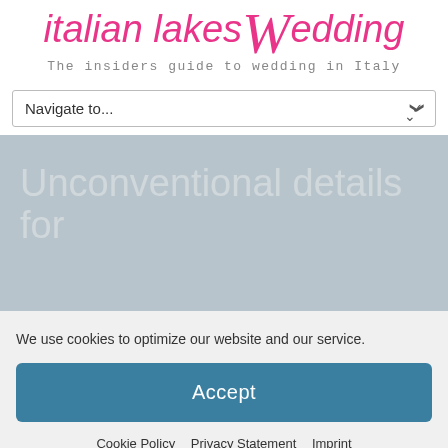[Figure (logo): Italian Lakes Wedding logo in pink italic text with a stylized cursive W]
The insiders guide to wedding in Italy
Navigate to...
[Figure (screenshot): Hero banner with text 'Unconventional details for' on grey background]
We use cookies to optimize our website and our service.
Accept
Cookie Policy  Privacy Statement  Imprint